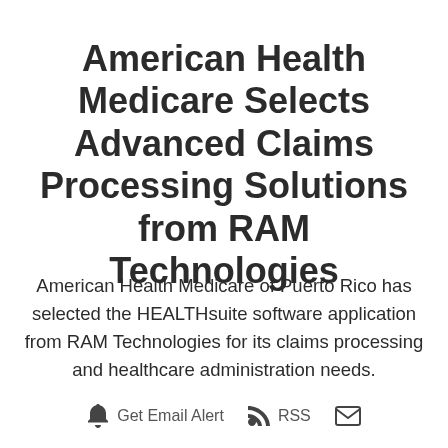American Health Medicare Selects Advanced Claims Processing Solutions from RAM Technologies
American Health Medicare of Puerto Rico has selected the HEALTHsuite software application from RAM Technologies for its claims processing and healthcare administration needs.
Get Email Alert   RSS   [email icon]